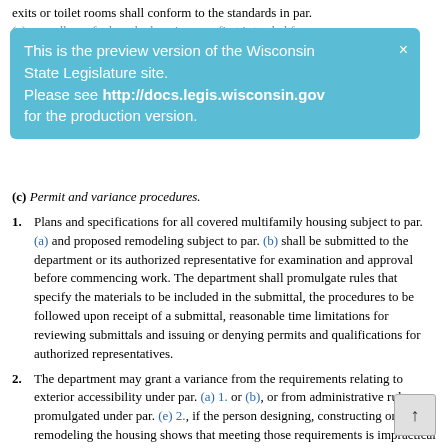exits or toilet rooms shall conform to the standards in par. (a) regardless of when the housing was first intended for
This is the preview version of the Wisconsin State Legislature site. Please see http://docs.legis.wisconsin.gov for the production version.
(c) Permit and variance procedures.
1. Plans and specifications for all covered multifamily housing subject to par. (a) and proposed remodeling subject to par. (b) shall be submitted to the department or its authorized representative for examination and approval before commencing work. The department shall promulgate rules that specify the materials to be included in the submittal, the procedures to be followed upon receipt of a submittal, reasonable time limitations for reviewing submittals and issuing or denying permits and qualifications for authorized representatives.
2. The department may grant a variance from the requirements relating to exterior accessibility under par. (a) 1. or (b), or from administrative rules promulgated under par. (e) 2., if the person designing, constructing or remodeling the housing shows that meeting those requirements is impractical because of the terrain or unusual characteristics of the site. The department shall use a slope analysis of the undisturbed site for covered